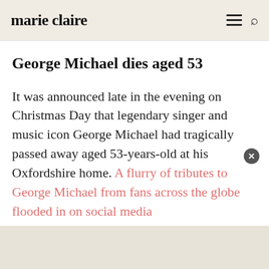marie claire
George Michael dies aged 53
It was announced late in the evening on Christmas Day that legendary singer and music icon George Michael had tragically passed away aged 53-years-old at his Oxfordshire home. A flurry of tributes to George Michael from fans across the globe flooded in on social media